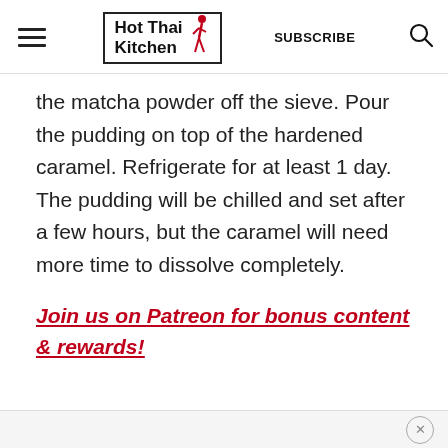Hot Thai Kitchen | SUBSCRIBE
the matcha powder off the sieve. Pour the pudding on top of the hardened caramel. Refrigerate for at least 1 day. The pudding will be chilled and set after a few hours, but the caramel will need more time to dissolve completely.
Join us on Patreon for bonus content & rewards!